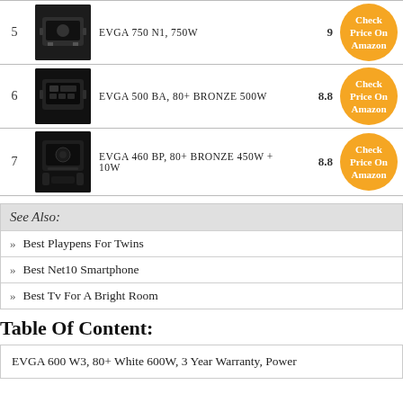| # | Image | Name | Score | Link |
| --- | --- | --- | --- | --- |
| 5 | [image] | EVGA 750 N1, 750W | 9 | Check Price On Amazon |
| 6 | [image] | EVGA 500 BA, 80+ BRONZE 500W | 8.8 | Check Price On Amazon |
| 7 | [image] | EVGA 460 BP, 80+ BRONZE 450W + 10W | 8.8 | Check Price On Amazon |
See Also:
Best Playpens For Twins
Best Net10 Smartphone
Best Tv For A Bright Room
Table Of Content:
EVGA 600 W3, 80+ White 600W, 3 Year Warranty, Power